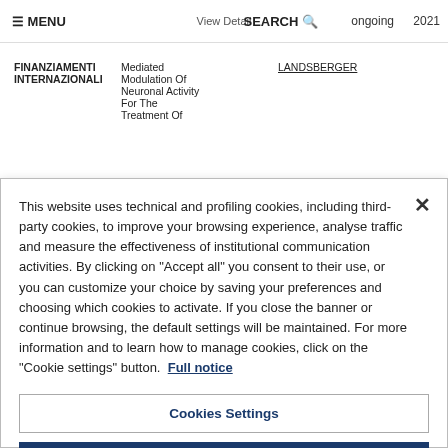View Detail | MENU | SEARCH | ongoing | 2021
|  |  |  |  |  |
| --- | --- | --- | --- | --- |
| FINANZIAMENTI INTERNAZIONALI | Mediated Modulation Of Neuronal Activity For The Treatment Of | LANDSBERGER | ongoing | 2021 |
This website uses technical and profiling cookies, including third-party cookies, to improve your browsing experience, analyse traffic and measure the effectiveness of institutional communication activities. By clicking on "Accept all" you consent to their use, or you can customize your choice by saving your preferences and choosing which cookies to activate. If you close the banner or continue browsing, the default settings will be maintained. For more information and to learn how to manage cookies, click on the "Cookie settings" button. Full notice
Cookies Settings
Reject All